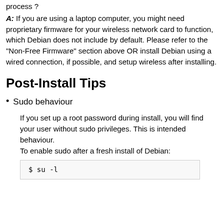process ?
A: If you are using a laptop computer, you might need proprietary firmware for your wireless network card to function, which Debian does not include by default. Please refer to the "Non-Free Firmware" section above OR install Debian using a wired connection, if possible, and setup wireless after installing.
Post-Install Tips
Sudo behaviour
If you set up a root password during install, you will find your user without sudo privileges. This is intended behaviour.
To enable sudo after a fresh install of Debian:
$ su -l